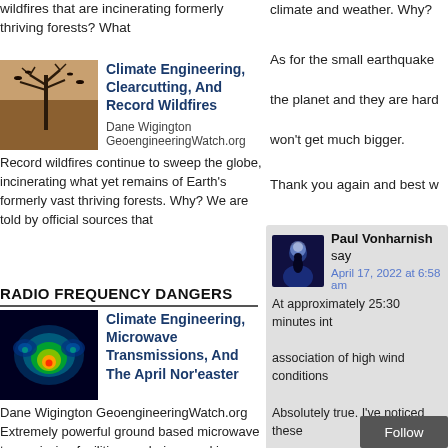wildfires that are incinerating formerly thriving forests? What
[Figure (photo): Silhouette of bare trees against an orange sky thumbnail]
Climate Engineering, Clearcutting, And Record Wildfires
Dane Wigington GeoengineeringWatch.org Record wildfires continue to sweep the globe, incinerating what yet remains of Earth's formerly vast thriving forests. Why? We are told by official sources that
RADIO FREQUENCY DANGERS
[Figure (photo): Colorful heat map radar image thumbnail]
Climate Engineering, Microwave Transmissions, And The April Nor'easter
Dane Wigington GeoengineeringWatch.org Extremely powerful ground based microwave transmission facilities are being used in conjunction with the ongoing atmospheric aerosol spraying operations to completely manipulate Earth's climate
climate and weather. Why?
As for the small earthquake
the planet and they are hard
won't get much bigger.
Thank you again and best w
[Figure (photo): Dark blue avatar image of person silhouette]
Paul Vonharnish says
April 17, 2022 at 6:58 am
At approximately 25:30 minutes int
association of high wind conditions
Absolutely true. I've noticed these
"Wind chill" effects are off the char
If one pays close attention, they wi
cold were heavy aerosol release d
clearly hear the ring of HAARP electromagnetic ma
Follow